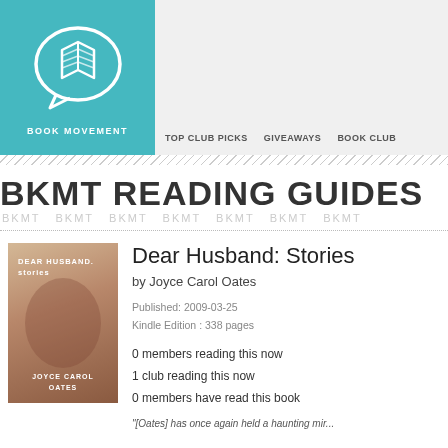[Figure (logo): Book Movement logo: teal/cyan speech bubble with open book icon, white text 'BOOK MOVEMENT' below]
TOP CLUB PICKS   GIVEAWAYS   BOOK CLUB
BKMT READING GUIDES
[Figure (photo): Book cover of 'Dear Husband.' by Joyce Carol Oates showing a young boy with closed eyes against a warm background]
Dear Husband: Stories
by Joyce Carol Oates
Published: 2009-03-25
Kindle Edition : 338 pages
0 members reading this now
1 club reading this now
0 members have read this book
"[Oates] has once again held a haunting mir...